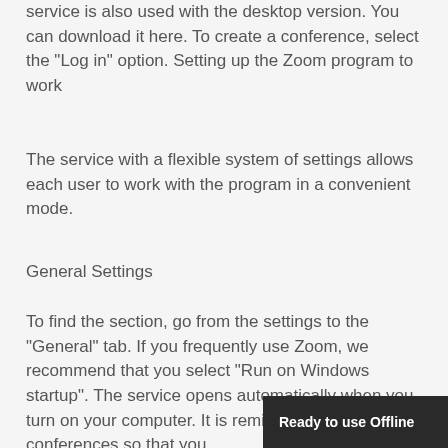service is also used with the desktop version. You can download it here. To create a conference, select the "Log in" option. Setting up the Zoom program to work
The service with a flexible system of settings allows each user to work with the program in a convenient mode.
General Settings
To find the section, go from the settings to the "General" tab. If you frequently use Zoom, we recommend that you select "Run on Windows startup". The service opens automatically when you turn on your computer. It is reminders for upcoming conferences so that you
[Figure (other): Toast notification banner reading 'Ready to use Offline' in white text on dark background]